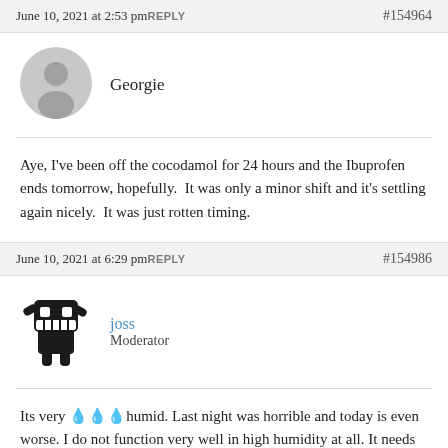June 10, 2021 at 2:53 pm REPLY #154964
[Figure (illustration): Generic grey avatar silhouette icon]
Georgie
Aye, I've been off the cocodamol for 24 hours and the Ibuprofen ends tomorrow, hopefully.  It was only a minor shift and it's settling again nicely.  It was just rotten timing.
June 10, 2021 at 6:29 pm REPLY #154986
[Figure (illustration): Black cartoon monster avatar (Domo-style) holding arms up]
joss
Moderator
Its very 💧💧💧humid. Last night was horrible and today is even worse. I do not function very well in high humidity at all. It needs to storm to bring fresh air. Please weather gods, make it so.